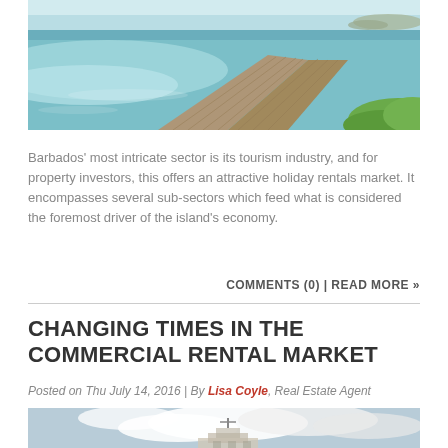[Figure (photo): Aerial/coastal view of a wooden boardwalk/path alongside turquoise Caribbean water in Barbados]
Barbados' most intricate sector is its tourism industry, and for property investors, this offers an attractive holiday rentals market. It encompasses several sub-sectors which feed what is considered the foremost driver of the island's economy.
COMMENTS (0) | READ MORE »
CHANGING TIMES IN THE COMMERCIAL RENTAL MARKET
Posted on Thu July 14, 2016 | By Lisa Coyle, Real Estate Agent
[Figure (photo): Photo of a commercial building against a cloudy sky]